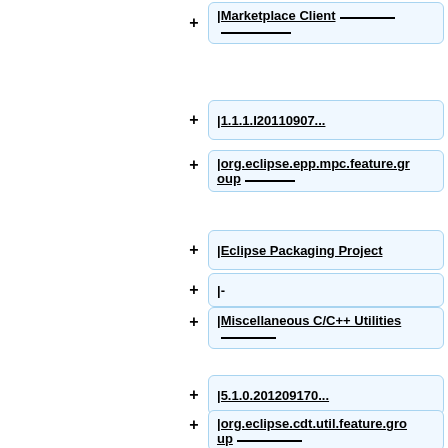+ |Marketplace Client ______ ______
+ |1.1.1.I20110907...
+ |org.eclipse.epp.mpc.feature.group ______
+ |Eclipse Packaging Project
+ |-
+ |Miscellaneous C/C++ Utilities ______
+ |5.1.0.201209170...
+ |org.eclipse.cdt.util.feature.group ______
+ |Eclipse CDT
+ |-